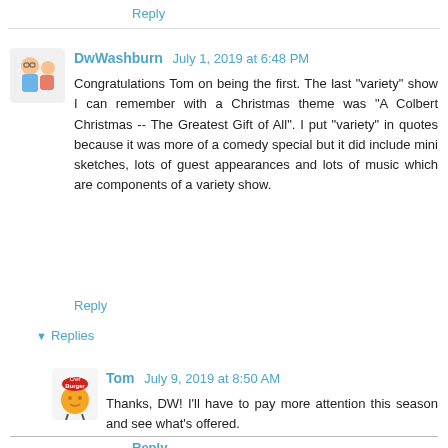Reply
DwWashburn  July 1, 2019 at 6:48 PM
Congratulations Tom on being the first. The last "variety" show I can remember with a Christmas theme was "A Colbert Christmas -- The Greatest Gift of All". I put "variety" in quotes because it was more of a comedy special but it did include mini sketches, lots of guest appearances and lots of music which are components of a variety show.
Reply
▼ Replies
Tom  July 9, 2019 at 8:50 AM
Thanks, DW! I'll have to pay more attention this season and see what's offered.
Reply